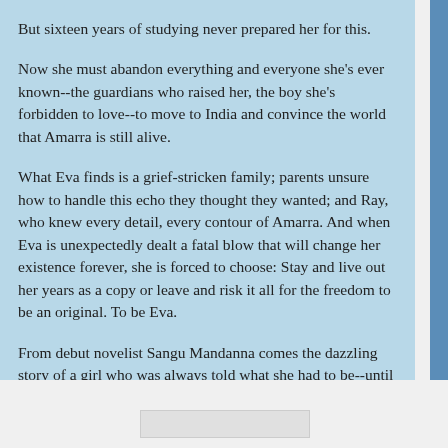But sixteen years of studying never prepared her for this.
Now she must abandon everything and everyone she's ever known--the guardians who raised her, the boy she's forbidden to love--to move to India and convince the world that Amarra is still alive.
What Eva finds is a grief-stricken family; parents unsure how to handle this echo they thought they wanted; and Ray, who knew every detail, every contour of Amarra. And when Eva is unexpectedly dealt a fatal blow that will change her existence forever, she is forced to choose: Stay and live out her years as a copy or leave and risk it all for the freedom to be an original. To be Eva.
From debut novelist Sangu Mandanna comes the dazzling story of a girl who was always told what she had to be--until she found the strength to decide for herself.